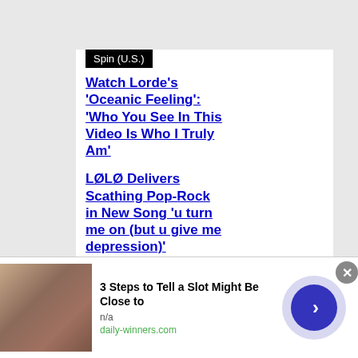Spin (U.S.)
Watch Lorde’s ‘Oceanic Feeling’: ‘Who You See In This Video Is Who I Truly Am’
LØLØ Delivers Scathing Pop-Rock in New Song ‘u turn me on (but u give me depression)’
Eddie Vedder Salutes
[Figure (screenshot): Advertisement banner: '3 Steps to Tell a Slot Might Be Close to' from daily-winners.com with a photo of a person and a blue play button]
3 Steps to Tell a Slot Might Be Close to
n/a
daily-winners.com